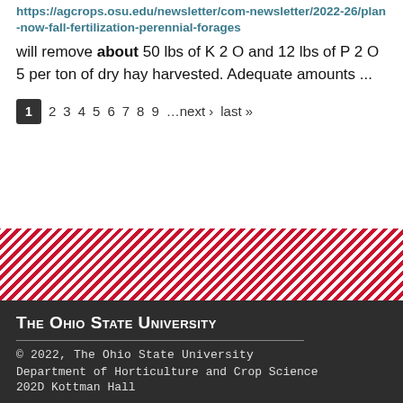https://agcrops.osu.edu/newsletter/com-newsletter/2022-26/plan-now-fall-fertilization-perennial-forages
will remove about 50 lbs of K 2 O and 12 lbs of P 2 O 5 per ton of dry hay harvested. Adequate amounts ...
1 2 3 4 5 6 7 8 9 …next › last »
[Figure (other): Diagonal red and white striped decorative banner]
The Ohio State University
© 2022, The Ohio State University
Department of Horticulture and Crop Science
202D Kottman Hall